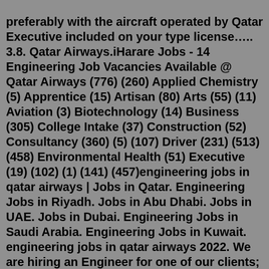preferably with the aircraft operated by Qatar Executive included on your type license….. 3.8. Qatar Airways.iHarare Jobs - 14 Engineering Job Vacancies Available @ Qatar Airways (776) (260) Applied Chemistry (5) Apprentice (15) Artisan (80) Arts (55) (11) Aviation (3) Biotechnology (14) Business (305) College Intake (37) Construction (52) Consultancy (360) (5) (107) Driver (231) (513) (458) Environmental Health (51) Executive (19) (102) (1) (141) (457)engineering jobs in qatar airways | Jobs in Qatar. Engineering Jobs in Riyadh. Jobs in Abu Dhabi. Jobs in UAE. Jobs in Dubai. Engineering Jobs in Saudi Arabia. Engineering Jobs in Kuwait. engineering jobs in qatar airways 2022. We are hiring an Engineer for one of our clients; Minimum 5 years of related experience;Search job openings at Qatar Airways. 146 Qatar Airways jobs including salaries, ratings, and reviews, posted by Qatar Airways employees. ... Electrical Engineer ...